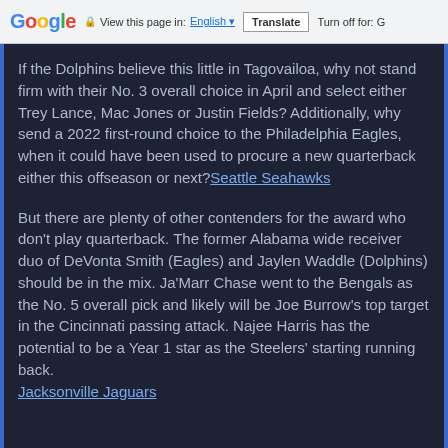Google | View this page in: English | Translate | Turn off for: G
If the Dolphins believe this little in Tagovailoa, why not stand firm with their No. 3 overall choice in April and select either Trey Lance, Mac Jones or Justin Fields? Additionally, why send a 2022 first-round choice to the Philadelphia Eagles, when it could have been used to procure a new quarterback either this offseason or next?Seattle Seahawks
But there are plenty of other contenders for the award who don't play quarterback. The former Alabama wide receiver duo of DeVonta Smith (Eagles) and Jaylen Waddle (Dolphins) should be in the mix. Ja'Marr Chase went to the Bengals as the No. 5 overall pick and likely will be Joe Burrow's top target in the Cincinnati passing attack. Najee Harris has the potential to be a Year 1 star as the Steelers' starting running back.Jacksonville Jaguars